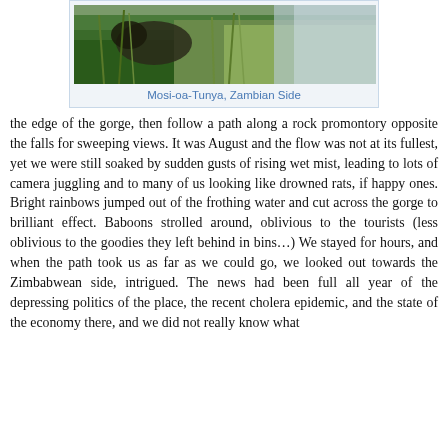[Figure (photo): Photograph of Mosi-oa-Tunya (Victoria Falls) from the Zambian side, showing lush green vegetation and mist from the falls]
Mosi-oa-Tunya, Zambian Side
the edge of the gorge, then follow a path along a rock promontory opposite the falls for sweeping views. It was August and the flow was not at its fullest, yet we were still soaked by sudden gusts of rising wet mist, leading to lots of camera juggling and to many of us looking like drowned rats, if happy ones. Bright rainbows jumped out of the frothing water and cut across the gorge to brilliant effect. Baboons strolled around, oblivious to the tourists (less oblivious to the goodies they left behind in bins…) We stayed for hours, and when the path took us as far as we could go, we looked out towards the Zimbabwean side, intrigued. The news had been full all year of the depressing politics of the place, the recent cholera epidemic, and the state of the economy there, and we did not really know what